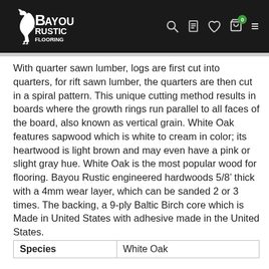Bayou Rustic Flooring
With quarter sawn lumber, logs are first cut into quarters, for rift sawn lumber, the quarters are then cut in a spiral pattern. This unique cutting method results in boards where the growth rings run parallel to all faces of the board, also known as vertical grain. White Oak features sapwood which is white to cream in color; its heartwood is light brown and may even have a pink or slight gray hue. White Oak is the most popular wood for flooring. Bayou Rustic engineered hardwoods 5/8’ thick with a 4mm wear layer, which can be sanded 2 or 3 times. The backing, a 9-ply Baltic Birch core which is Made in United States with adhesive made in the United States.
| Species |  |
| --- | --- |
| Species | White Oak |